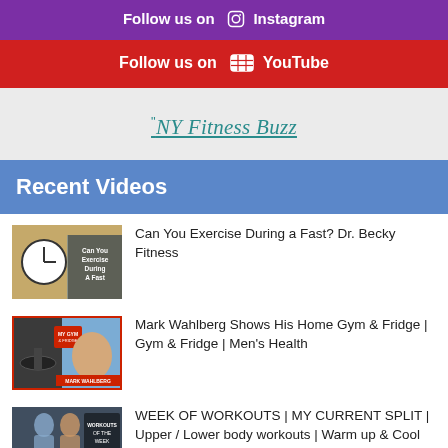Follow us on Instagram
Follow us on YouTube
NY Fitness Buzz
Recent Videos
[Figure (screenshot): Video thumbnail: Can You Exercise During a Fast? Dr. Becky Fitness]
Can You Exercise During a Fast? Dr. Becky Fitness
[Figure (screenshot): Video thumbnail: Mark Wahlberg Shows His Home Gym & Fridge | Gym & Fridge | Men's Health]
Mark Wahlberg Shows His Home Gym & Fridge | Gym & Fridge | Men's Health
[Figure (screenshot): Video thumbnail: WEEK OF WORKOUTS | MY CURRENT SPLIT | Upper / Lower body workouts | Warm up & Cool]
WEEK OF WORKOUTS | MY CURRENT SPLIT | Upper / Lower body workouts | Warm up & Cool